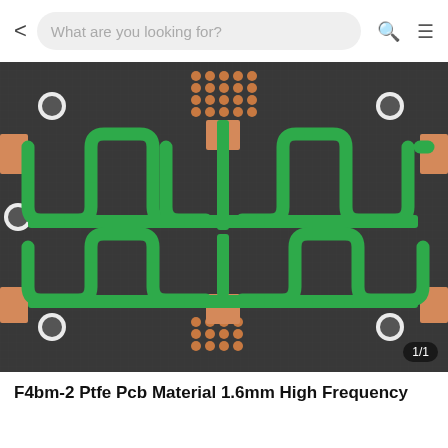What are you looking for?
[Figure (photo): Close-up photograph of an F4bm-2 PTFE PCB material 1.6mm high frequency circuit board showing green serpentine transmission line traces on a dark substrate with copper pads, mounting holes, and via arrays.]
F4bm-2 Ptfe Pcb Material 1.6mm High Frequency